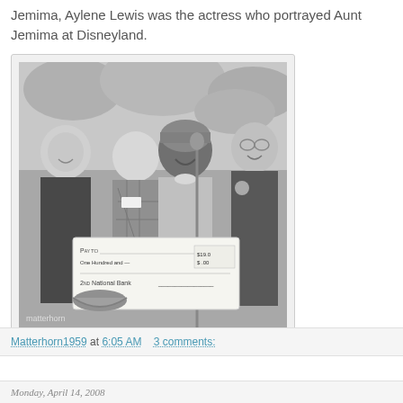Jemima, Aylene Lewis was the actress who portrayed Aunt Jemima at Disneyland.
[Figure (photo): Black and white photograph of four people outdoors. Three people are holding a large check from 2nd National Bank. One of the people appears to be dressed as Aunt Jemima. Watermark reads 'matterhorn' at bottom left.]
Matterhorn1959 at 6:05 AM    3 comments:
Monday, April 14, 2008